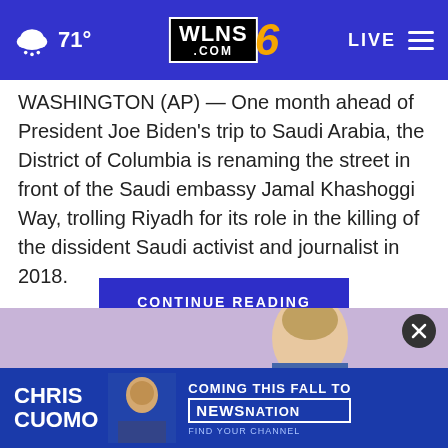71° WLNS6.COM LIVE
WASHINGTON (AP) — One month ahead of President Joe Biden's trip to Saudi Arabia, the District of Columbia is renaming the street in front of the Saudi embassy Jamal Khashoggi Way, trolling Riyadh for its role in the killing of the dissident Saudi activist and journalist in 2018.
With members... [faded] ...ndance...
CONTINUE READING
[Figure (photo): Advertisement showing Chris Cuomo coming to NewsNation this fall, with a close-up photo of a man's face on purple background and a blue banner below with the text CHRIS CUOMO COMING THIS FALL TO [NEWSNATION] FIND YOUR CHANNEL]